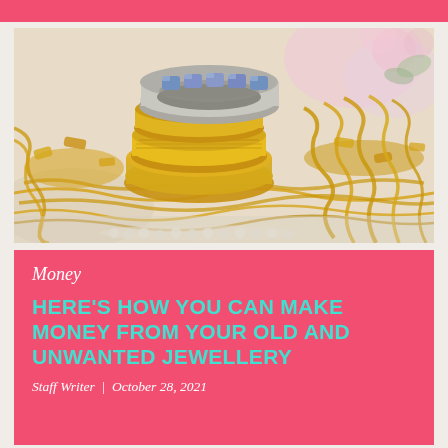[Figure (photo): Close-up photograph of a pile of gold jewellery including rings, bangles, chains and necklaces, with a silver and blue gemstone ring stacked on top of gold bands in the foreground, on a light background with out-of-focus pink flowers.]
Money
HERE'S HOW YOU CAN MAKE MONEY FROM YOUR OLD AND UNWANTED JEWELLERY
Staff Writer | October 28, 2021